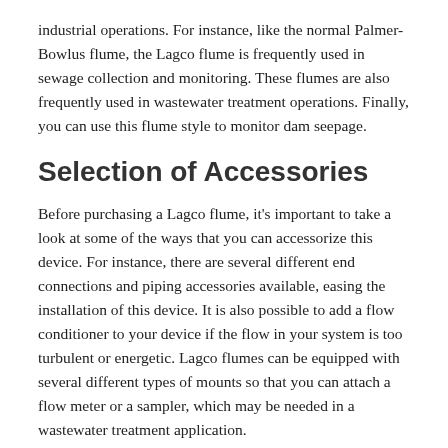industrial operations. For instance, like the normal Palmer-Bowlus flume, the Lagco flume is frequently used in sewage collection and monitoring. These flumes are also frequently used in wastewater treatment operations. Finally, you can use this flume style to monitor dam seepage.
Selection of Accessories
Before purchasing a Lagco flume, it’s important to take a look at some of the ways that you can accessorize this device. For instance, there are several different end connections and piping accessories available, easing the installation of this device. It is also possible to add a flow conditioner to your device if the flow in your system is too turbulent or energetic. Lagco flumes can be equipped with several different types of mounts so that you can attach a flow meter or a sampler, which may be needed in a wastewater treatment application.
The great thing about Lagco flumes is that they are available in several different configurations, making it easier to customize your flume to suit your needs. For instance, it’s possible to nest these